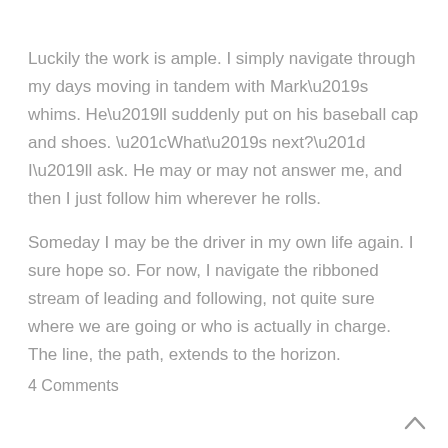Luckily the work is ample. I simply navigate through my days moving in tandem with Mark’s whims. He’ll suddenly put on his baseball cap and shoes. “What’s next?” I’ll ask. He may or may not answer me, and then I just follow him wherever he rolls.
Someday I may be the driver in my own life again. I sure hope so. For now, I navigate the ribboned stream of leading and following, not quite sure where we are going or who is actually in charge. The line, the path, extends to the horizon.
4 Comments